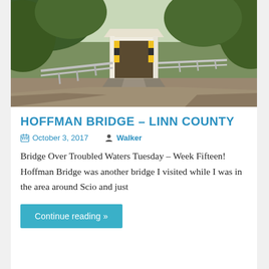[Figure (photo): A covered bridge (Hoffman Bridge) seen from the road approach, surrounded by large green trees. White wooden bridge structure visible in the center, with guardrails on both sides of the road leading to it.]
HOFFMAN BRIDGE – LINN COUNTY
October 3, 2017   Walker
Bridge Over Troubled Waters Tuesday – Week Fifteen!  Hoffman Bridge was another bridge I visited while I was in the area around Scio and just
Continue reading »